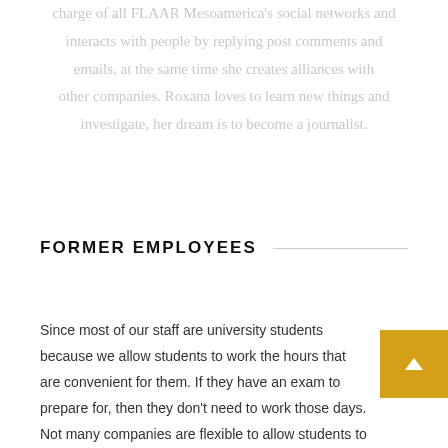charge of all FLAAR Mesoamerica's social networks and interacts with people by replying post comments and emails, at the same time she creates alliances with other companies. Roxana loves to learn new things and investigate, her dream is to become a journalist.
FORMER EMPLOYEES
Since most of our staff are university students because we allow students to work the hours that are convenient for them. If they have an exam to prepare for, then they don't need to work those days. Not many companies are flexible to allow students to arrive anytime between 6:30am and and others to work until